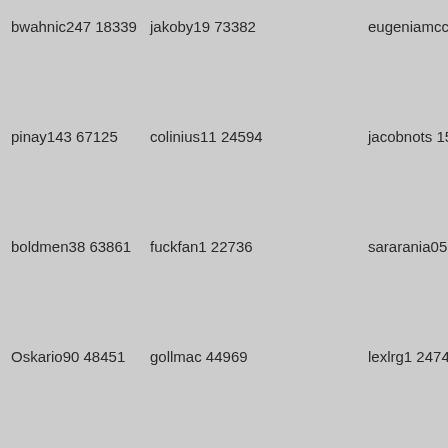bwahnic247 18339
jakoby19 73382
eugeniamcclure7
pinay143 67125
colinius11 24594
jacobnots 15566
boldmen38 63861
fuckfan1 22736
sararania05 1451
Oskario90 48451
gollmac 44969
lexlrg1 24745